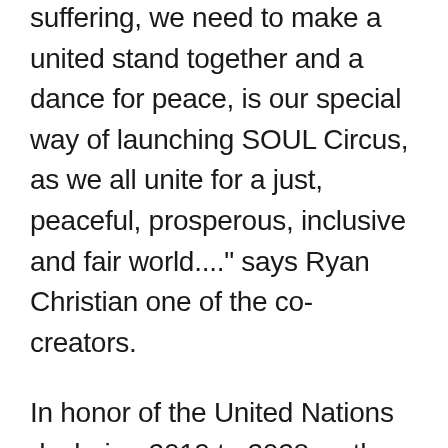"…we can end violence and suffering, we need to make a united stand together and a dance for peace, is our special way of launching SOUL Circus, as we all unite for a just, peaceful, prosperous, inclusive and fair world...." says Ryan Christian one of the co-creators.
In honor of the United Nations declaring 2019 to 2028 as the Nelson Mandela Decade of Peace, SOUL Circus will depart from Cape Town on the